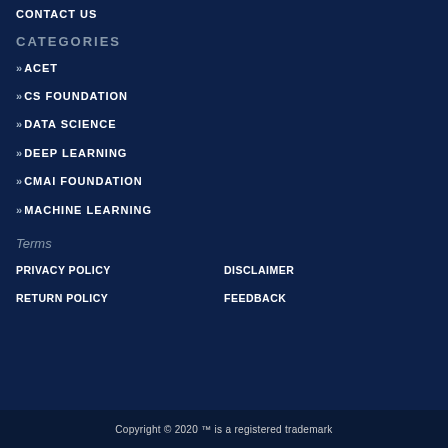CONTACT US
CATEGORIES
>> ACET
>> CS FOUNDATION
>> DATA SCIENCE
>> DEEP LEARNING
>> CMAI FOUNDATION
>> MACHINE LEARNING
Terms
PRIVACY POLICY
DISCLAIMER
RETURN POLICY
FEEDBACK
Copyright © 2020 ™ is a registered trademark